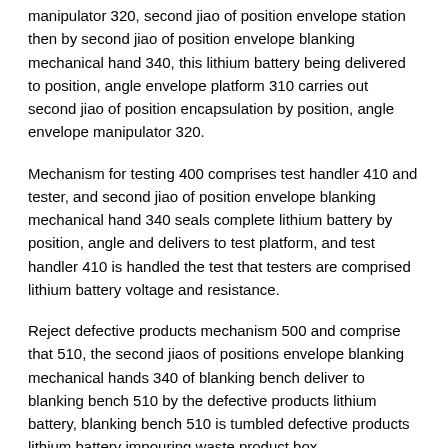manipulator 320, second jiao of position envelope station then by second jiao of position envelope blanking mechanical hand 340, this lithium battery being delivered to position, angle envelope platform 310 carries out second jiao of position encapsulation by position, angle envelope manipulator 320.
Mechanism for testing 400 comprises test handler 410 and tester, and second jiao of position envelope blanking mechanical hand 340 seals complete lithium battery by position, angle and delivers to test platform, and test handler 410 is handled the test that testers are comprised lithium battery voltage and resistance.
Reject defective products mechanism 500 and comprise that 510, the second jiaos of positions envelope blanking mechanical hands 340 of blanking bench deliver to blanking bench 510 by the defective products lithium battery, blanking bench 510 is tumbled defective products lithium battery impouring waste product box.
As shown in Figure 2, feeding manipulator comprises column pedestal 117, paw cylinder 111, material loading